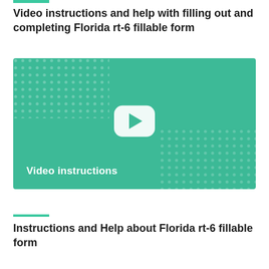Video instructions and help with filling out and completing Florida rt-6 fillable form
[Figure (screenshot): A teal/green video thumbnail with a white rounded-rectangle play button in the center. The label 'Video instructions' appears in white bold text at the bottom left. Decorative dot patterns appear in the top-left and bottom-right corners.]
Instructions and Help about Florida rt-6 fillable form